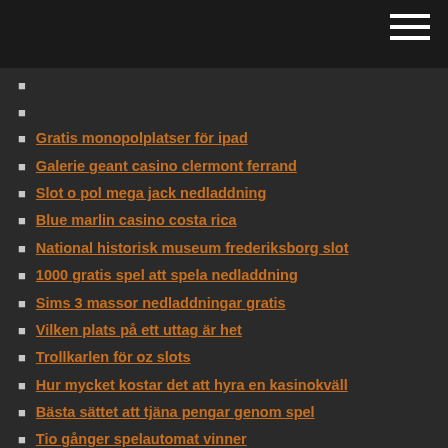Gratis monopolplatser för ipad
Galerie geant casino clermont ferrand
Slot o pol mega jack nedladdning
Blue marlin casino costa rica
National historisk museum frederiksborg slot
1000 gratis spel att spela nedladdning
Sims 3 massor nedladdningar gratis
Vilken plats på ett uttag är het
Trollkarlen för oz slots
Hur mycket kostar det att hyra en kasinokväll
Bästa sättet att tjäna pengar genom spel
Tio gånger spelautomat vinner